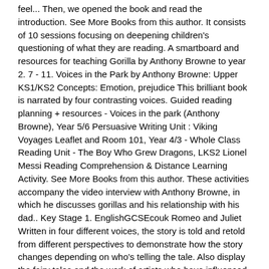feel... Then, we opened the book and read the introduction. See More Books from this author. It consists of 10 sessions focusing on deepening children's questioning of what they are reading. A smartboard and resources for teaching Gorilla by Anthony Browne to year 2. 7 - 11. Voices in the Park by Anthony Browne: Upper KS1/KS2 Concepts: Emotion, prejudice This brilliant book is narrated by four contrasting voices. Guided reading planning + resources - Voices in the park (Anthony Browne), Year 5/6 Persuasive Writing Unit : Viking Voyages Leaflet and Room 101, Year 4/3 - Whole Class Reading Unit - The Boy Who Grew Dragons, LKS2 Lionel Messi Reading Comprehension & Distance Learning Activity. See More Books from this author. These activities accompany the video interview with Anthony Browne, in which he discusses gorillas and his relationship with his dad.. Key Stage 1. EnglishGCSEcouk Romeo and Juliet Written in four different voices, the story is told and retold from different perspectives to demonstrate how the story changes depending on who's telling the tale. Also display the fairy tales and the work of artists who have influenced the author's work (such as Magritte, Dali). Draw the view to the other side. Could you write a similar story, but based on a different animal? Your class will add the words to the sentences and also look at a few words and meanings. Explore the impact a narrator's point of view has on a story with a reading of the children's book, Voices in the Park by Anthony Browne. This resource explores the contractions used in a passage of the story. FREE (3) Popular paid